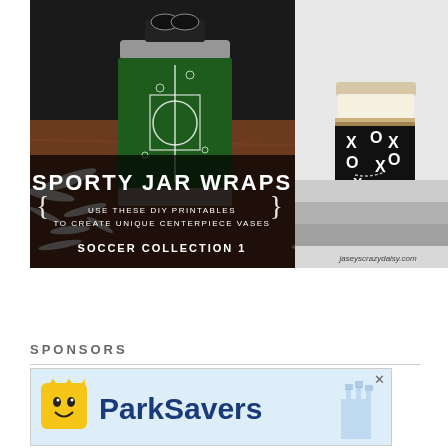[Figure (photo): Sporty Jar Wraps promotional image showing two mason jars with sports-themed wraps (soccer field design in green and football play design in black), on a wooden surface with shredded white paper. Text overlay reads 'SPORTY JAR WRAPS - USE THESE DIY PRINTABLES TO CREATE UNIQUE CENTERPIECE VASES - SOCCER COLLECTION 1 - jaseyscrazydaisy.com']
SPONSORS
[Figure (logo): ParkSavers advertisement with yellow smiley face crown logo and blue 'ParkSavers' text on light blue background, with close button X in top right]